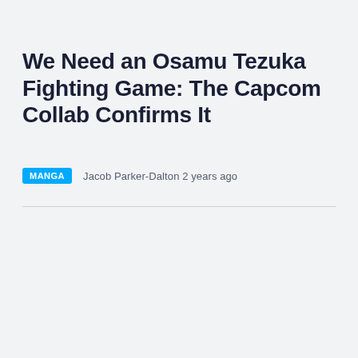We Need an Osamu Tezuka Fighting Game: The Capcom Collab Confirms It
MANGA   Jacob Parker-Dalton 2 years ago